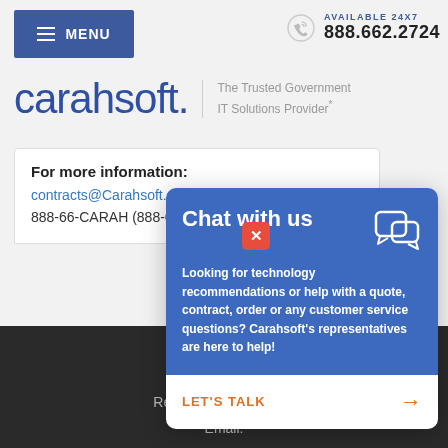[Figure (screenshot): Navigation bar with blue MENU button (hamburger icon) on the left, and phone section on the right showing AVAILABLE 24X7 and 888.662.2724]
[Figure (logo): Carahsoft logo in blue with tagline 'The Trusted Government IT Solutions Provider*']
For more information:
contracts@Carahsoft.com
888-66-CARAH (888-662-2724)
[Figure (screenshot): Chat with us popup overlay with blue header, description text, and LET'S TALK button with arrow]
Reston, Virginia 20190
Email: